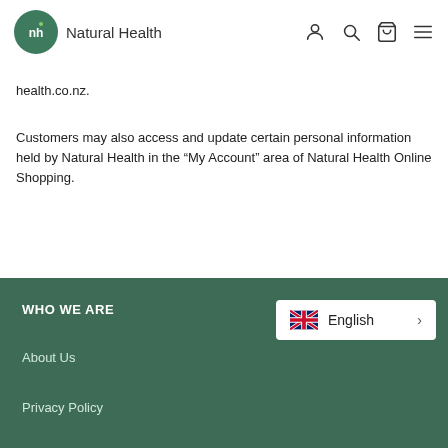Natural Health
health.co.nz.
Customers may also access and update certain personal information held by Natural Health in the “My Account” area of Natural Health Online Shopping.
WHO WE ARE
About Us
Privacy Policy
English